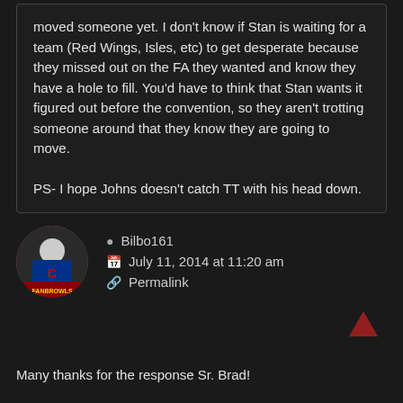moved someone yet. I don't know if Stan is waiting for a team (Red Wings, Isles, etc) to get desperate because they missed out on the FA they wanted and know they have a hole to fill. You'd have to think that Stan wants it figured out before the convention, so they aren't trotting someone around that they know they are going to move.

PS- I hope Johns doesn't catch TT with his head down.
Bilbo161
July 11, 2014 at 11:20 am
Permalink
Many thanks for the response Sr. Brad!